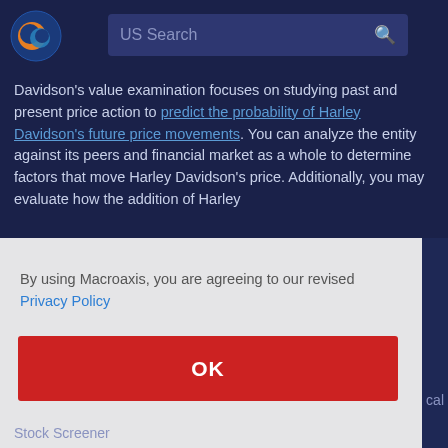US Search
Davidson's value examination focuses on studying past and present price action to predict the probability of Harley Davidson's future price movements. You can analyze the entity against its peers and financial market as a whole to determine factors that move Harley Davidson's price. Additionally, you may evaluate how the addition of Harley
By using Macroaxis, you are agreeing to our revised Privacy Policy
OK
Stock Screener